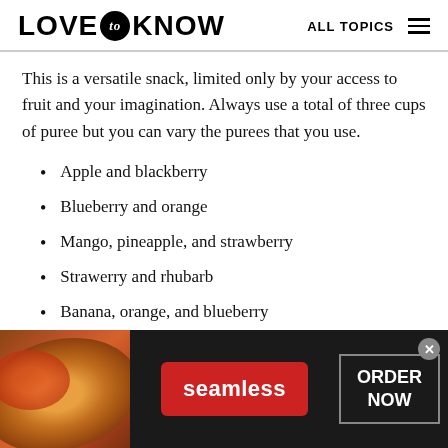LOVE to KNOW   ALL TOPICS
This is a versatile snack, limited only by your access to fruit and your imagination. Always use a total of three cups of puree but you can vary the purees that you use.
Apple and blackberry
Blueberry and orange
Mango, pineapple, and strawberry
Strawerry and rhubarb
Banana, orange, and blueberry
[Figure (screenshot): Seamless food delivery advertisement banner at the bottom of the page showing pizza image on left, red Seamless button in center, and ORDER NOW button on right with a close X button.]